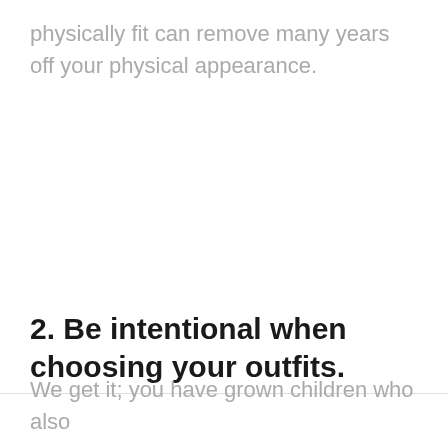physically fit can remove many years off your physical appearance.
2. Be intentional when choosing your outfits.
We get it; you have grown children who also